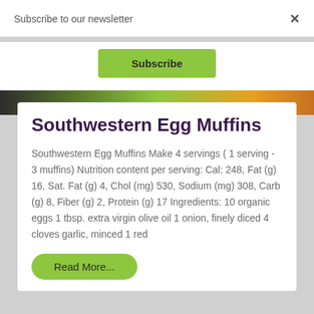Subscribe to our newsletter
Subscribe
Southwestern Egg Muffins
Southwestern Egg Muffins Make 4 servings ( 1 serving - 3 muffins) Nutrition content per serving: Cal: 248, Fat (g) 16, Sat. Fat (g) 4, Chol (mg) 530, Sodium (mg) 308, Carb (g) 8, Fiber (g) 2, Protein (g) 17 Ingredients: 10 organic eggs 1 tbsp. extra virgin olive oil 1 onion, finely diced 4 cloves garlic, minced 1 red
Read More...